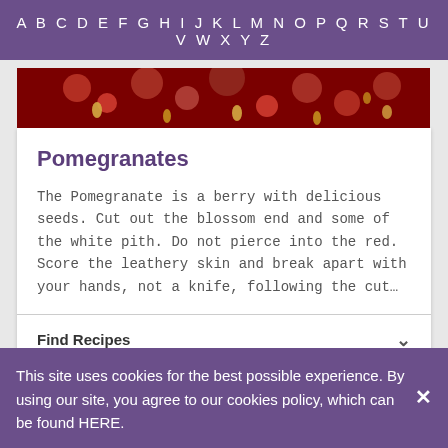A B C D E F G H I J K L M N O P Q R S T U V W X Y Z
[Figure (photo): Close-up photo of pomegranate seeds and arils, deep red color]
Pomegranates
The Pomegranate is a berry with delicious seeds. Cut out the blossom end and some of the white pith. Do not pierce into the red. Score the leathery skin and break apart with your hands, not a knife, following the cut…
Find Recipes
[Figure (photo): Photo of multiple brown mushrooms on a white background]
This site uses cookies for the best possible experience. By using our site, you agree to our cookies policy, which can be found HERE.